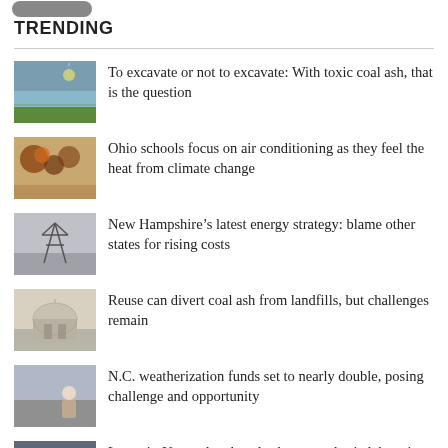TRENDING
To excavate or not to excavate: With toxic coal ash, that is the question
Ohio schools focus on air conditioning as they feel the heat from climate change
New Hampshire’s latest energy strategy: blame other states for rising costs
Reuse can divert coal ash from landfills, but challenges remain
N.C. weatherization funds set to nearly double, posing challenge and opportunity
Lawsuit: Unregulated coal ash poses a buried, brewing threat to Lake Michigan and beyond
Long burdened by a coal plant, South Memphis